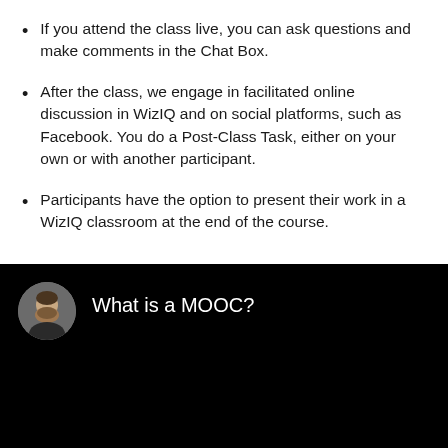If you attend the class live, you can ask questions and make comments in the Chat Box.
After the class, we engage in facilitated online discussion in WizIQ and on social platforms, such as Facebook. You do a Post-Class Task, either on your own or with another participant.
Participants have the option to present their work in a WizIQ classroom at the end of the course.
[Figure (screenshot): Video thumbnail with a man's avatar photo on a black background and text 'What is a MOOC?']